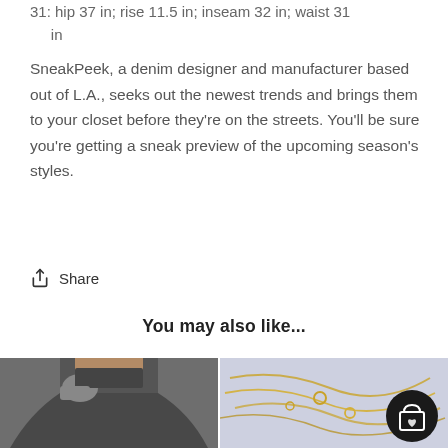31: hip 37 in; rise 11.5 in; inseam 32 in; waist 31 in
SneakPeek, a denim designer and manufacturer based out of L.A., seeks out the newest trends and brings them to your closet before they're on the streets. You'll be sure you're getting a sneak preview of the upcoming season's styles.
Share
You may also like...
[Figure (photo): Woman wearing a dark gray cut-out back dress/skirt]
[Figure (photo): Gold chain jewelry with a shopping bag icon overlay]